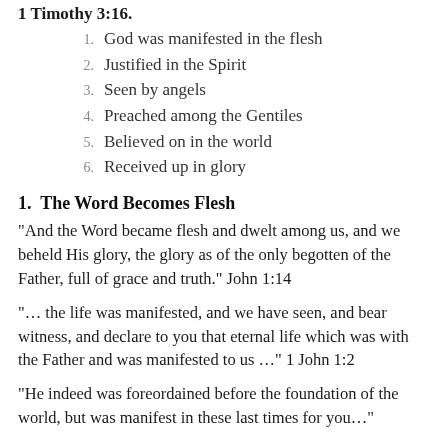1 Timothy 3:16.
God was manifested in the flesh
Justified in the Spirit
Seen by angels
Preached among the Gentiles
Believed on in the world
Received up in glory
1.  The Word Becomes Flesh
“And the Word became flesh and dwelt among us, and we beheld His glory, the glory as of the only begotten of the Father, full of grace and truth.” John 1:14
“… the life was manifested, and we have seen, and bear witness, and declare to you that eternal life which was with the Father and was manifested to us …” 1 John 1:2
“He indeed was foreordained before the foundation of the world, but was manifest in these last times for you…”